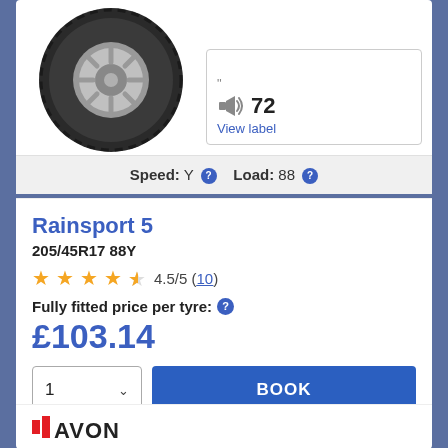[Figure (photo): Black car tyre with silver alloy wheel rim, shown from a slightly angled front view]
72
View label
Speed: Y  Load: 88
Rainsport 5
205/45R17 88Y
4.5/5 (10)
Fully fitted price per tyre: ?
£103.14
1  BOOK
[Figure (logo): Avon tyres logo with red diagonal stripe and bold black AVON text]